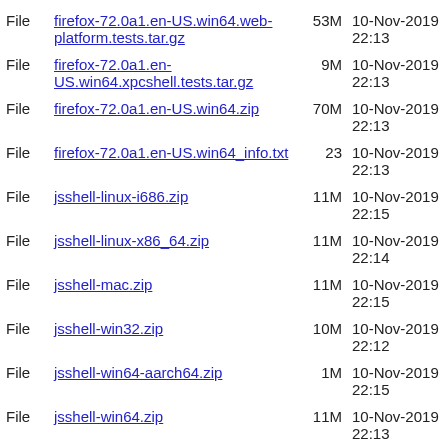File  firefox-72.0a1.en-US.win64.web-platform.tests.tar.gz  53M  10-Nov-2019 22:13
File  firefox-72.0a1.en-US.win64.xpcshell.tests.tar.gz  9M  10-Nov-2019 22:13
File  firefox-72.0a1.en-US.win64.zip  70M  10-Nov-2019 22:13
File  firefox-72.0a1.en-US.win64_info.txt  23  10-Nov-2019 22:13
File  jsshell-linux-i686.zip  11M  10-Nov-2019 22:15
File  jsshell-linux-x86_64.zip  11M  10-Nov-2019 22:14
File  jsshell-mac.zip  11M  10-Nov-2019 22:15
File  jsshell-win32.zip  10M  10-Nov-2019 22:12
File  jsshell-win64-aarch64.zip  1M  10-Nov-2019 22:15
File  jsshell-win64.zip  11M  10-Nov-2019 22:13
File  mozharness.zip  2M  10-Nov-2019 23:52